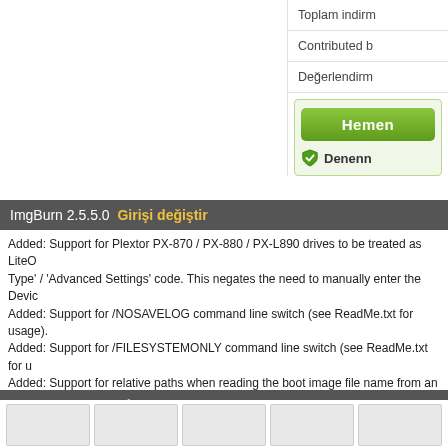Toplam indirm
Contributed b
Değerlendirm
Hemen
Denenn
ImgBurn 2.5.5.0  Girişi değiştir
Added: Support for Plextor PX-870 / PX-880 / PX-L890 drives to be treated as LiteOn 'Type' / 'Advanced Settings' code. This negates the need to manually enter the Device Added: Support for /NOSAVELOG command line switch (see ReadMe.txt for usage). Added: Support for /FILESYSTEMONLY command line switch (see ReadMe.txt for u Added: Support for relative paths when reading the boot image file name from an IBB Added: Proper support for CDI images (including multi-track/session ones) via Padus ImgBurn.exe is). Changed: Show a little more firmware version information for LG drives on the Device firmware updates. This is useful for drives like the BH10LS30 that display 1.00 when Changed: Increased precision of timestamps when 'building' UDF file system. Changed/Fixed: DLL loading method to avoid Microsoft Security Advisory (2269637). Fixed: An internal table containing file system info during a Read/Verify operation wa was being used and the files had multiple allocation descriptors spread over multiple bad sector belongs to)
ImgBurn 2.5.5.0  Ekran
[Figure (screenshot): Row of thumbnail screenshots at the bottom of the page]